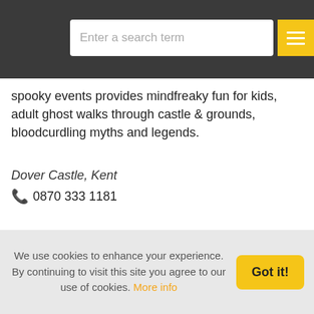Enter a search term
spooky events provides mindfreaky fun for kids, adult ghost walks through castle & grounds, bloodcurdling myths and legends.
Dover Castle, Kent
0870 333 1181
Halloween Party Wigs Online
Halloween wigs - Cruella, widow, Paris, siren, witch, spiky punk, zombie, madman, vampire magician, wizard & more. Range of colours - green, red, black, blue. Other wigs include Tina Turner, supermodel, babe, Mystique, spiky punk,
We use cookies to enhance your experience. By continuing to visit this site you agree to our use of cookies. More info